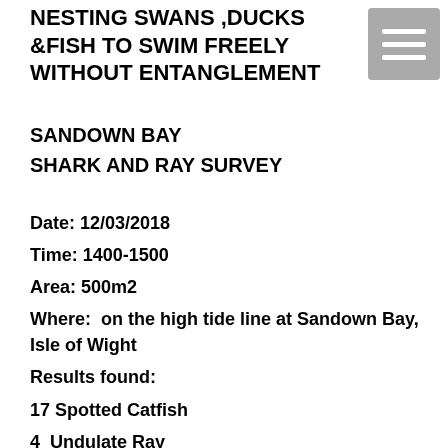NESTING SWANS ,DUCKS &FISH TO SWIM FREELY WITHOUT ENTANGLEMENT
SANDOWN BAY
SHARK AND RAY SURVEY
Date: 12/03/2018
Time: 1400-1500
Area: 500m2
Where:  on the high tide line at Sandown Bay, Isle of Wight
Results found:
17 Spotted Catfish
4  Undulate Ray
27 Spotted Ray